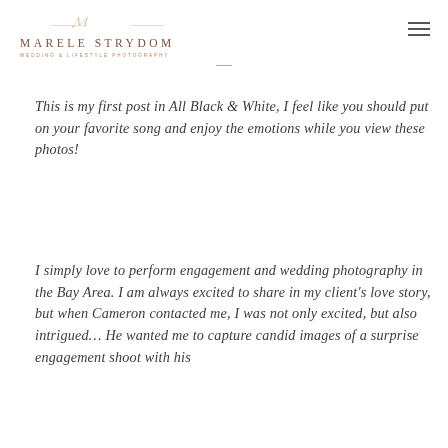MARELE STRYDOM WEDDING & LIFESTYLE PHOTOGRAPHY
This is my first post in All Black & White, I feel like you should put on your favorite song and enjoy the emotions while you view these photos!
I simply love to perform engagement and wedding photography in the Bay Area. I am always excited to share in my client's love story, but when Cameron contacted me, I was not only excited, but also intrigued… He wanted me to capture candid images of a surprise engagement shoot with his